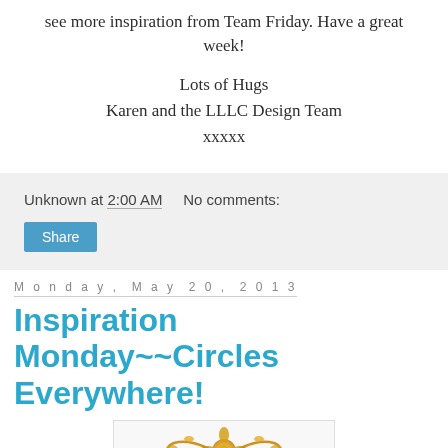see more inspiration from Team Friday. Have a great week!
Lots of Hugs
Karen and the LLLC Design Team
xxxxx
Unknown at 2:00 AM   No comments:
Share
Monday, May 20, 2013
Inspiration Monday~~Circles Everywhere!
[Figure (illustration): Decorative gold floral/ornamental graphic, partially visible at bottom of page]